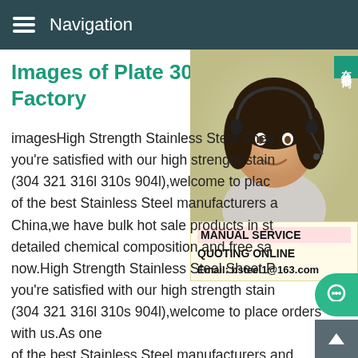Navigation
Images of Plate 304 316L 32: Factory
[Figure (photo): Customer service agent woman wearing headset, smiling, with online service badge in Chinese (在线咨询) and service info panel showing MANUAL SERVICE, QUOTING ONLINE, Email: bsteel1@163.com]
imagesHigh Strength Stainless Steel Sheet Plate - you're satisfied with our high strength stainless steel sheet (304 321 316l 310s 904l),welcome to place orders with us.As one of the best Stainless Steel manufacturers and suppliers in China,we have bulk hot sale products in stock at your choice.Request detailed chemical composition and free sample,contact our factory now.High Strength Stainless Steel Sheet Plate - you're satisfied with our high strength stainless steel sheet (304 321 316l 310s 904l),welcome to place orders with us.As one of the best Stainless Steel manufacturers and suppliers in China,we have bulk hot sale products in stock at your choice.Request detailed chemical composition and free sample,contact our factory now.High Quality Stainless Steel Sheet Plate 304 321 316L 31...China High Quality Stainless Steel Sheet Plate 304 321 316L ...